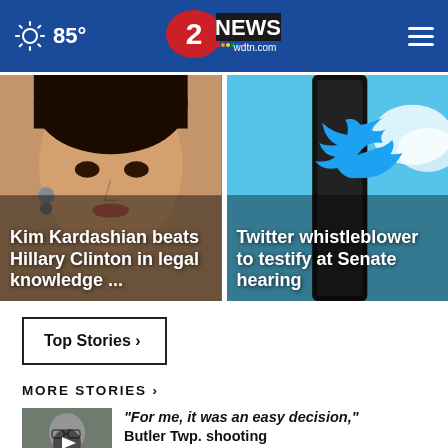85° — 2 News wdtn.com
[Figure (photo): Celebrity woman portrait used as background for Kim Kardashian story card]
Kim Kardashian beats Hillary Clinton in legal knowledge ...
[Figure (photo): Twitter bird logo on phone background for Twitter whistleblower story card]
Twitter whistleblower to testify at Senate hearing
Top Stories ›
MORE STORIES ›
[Figure (photo): Thumbnail photo of a man with glasses with a video play icon overlay]
“For me, it was an easy decision,” Butler Twp. shooting